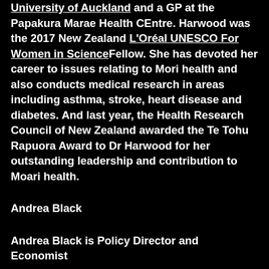University of Auckland and a GP at the Papakura Marae Health CEntre. Harwood was the 2017 New Zealand L'Oréal UNESCO For Women in Science Fellow. She has devoted her career to issues relating to Mori health and also conducts medical research in areas including asthma, stroke, heart disease and diabetes. And last year, the Health Research Council of New Zealand awarded the Te Tohu Rapuora Award to Dr Harwood for her outstanding leadership and contribution to Moari health.
Andrea Black
Andrea Black is Policy Director and Economist